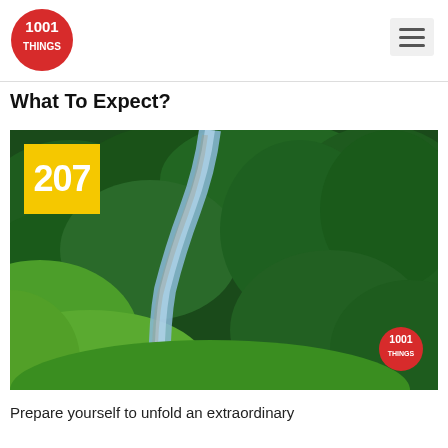[Figure (logo): 1001 Things logo - red circle with white text '1001 THINGS']
What To Expect?
[Figure (photo): Aerial view of a river winding through dense green forested hills/mountains. A yellow badge with '207' overlays the top-left corner. A 1001 Things logo watermark appears in the bottom-right corner.]
Prepare yourself to unfold an extraordinary